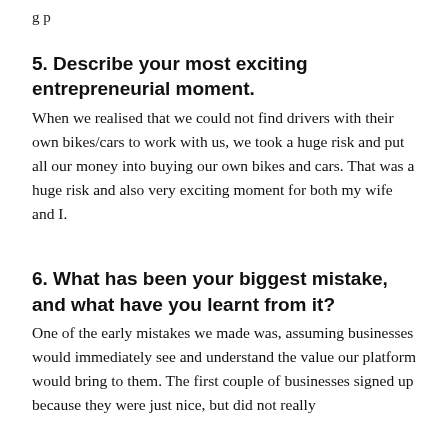g p
5. Describe your most exciting entrepreneurial moment.
When we realised that we could not find drivers with their own bikes/cars to work with us, we took a huge risk and put all our money into buying our own bikes and cars. That was a huge risk and also very exciting moment for both my wife and I.
6. What has been your biggest mistake, and what have you learnt from it?
One of the early mistakes we made was, assuming businesses would immediately see and understand the value our platform would bring to them. The first couple of businesses signed up because they were just nice, but did not really